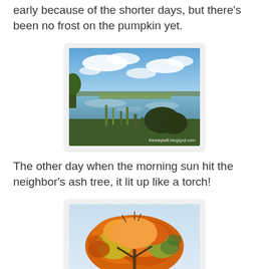early because of the shorter days, but there's been no frost on the pumpkin yet.
[Figure (photo): A calm wetland or marshy lake scene under a partly cloudy blue sky, with reflections of clouds in the still water, green marsh grasses and shrubs in the foreground, and a distant low treeline on the horizon. Watermark reads 'thewayiwill.blogspot.com'.]
The other day when the morning sun hit the neighbor's ash tree, it lit up like a torch!
[Figure (photo): An autumn tree with bright orange, yellow, and green foliage photographed against a pale blue sky, lit by morning sunlight.]